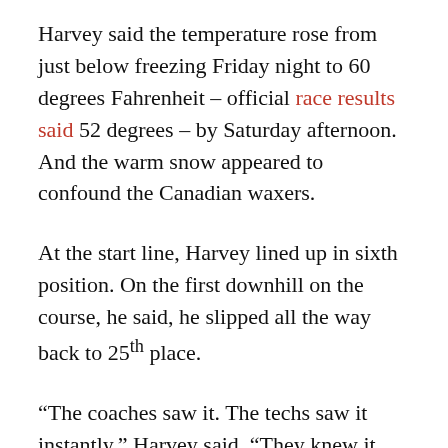Harvey said the temperature rose from just below freezing Friday night to 60 degrees Fahrenheit – official race results said 52 degrees – by Saturday afternoon. And the warm snow appeared to confound the Canadian waxers.
At the start line, Harvey lined up in sixth position. On the first downhill on the course, he said, he slipped all the way back to 25th place.
“The coaches saw it. The techs saw it instantly,” Harvey said. “They knew it was gonna be a really long day.”
Or as one of Harvey’s teammates, Ivan Babikov, was quoted as saying in a press release: “That was not